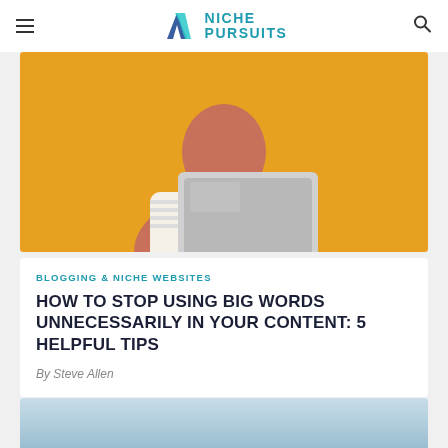Niche Pursuits
[Figure (photo): Person holding a laptop against a yellow background, thinking with hand on chin, wearing a striped shirt]
BLOGGING & NICHE WEBSITES
HOW TO STOP USING BIG WORDS UNNECESSARILY IN YOUR CONTENT: 5 HELPFUL TIPS
By Steve Allen
[Figure (photo): Blue sky partial image, bottom of page card]